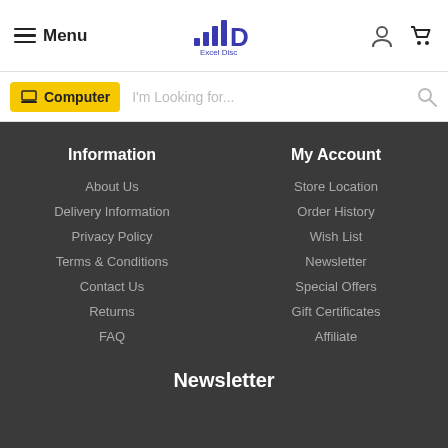Menu  Excel Disc
Computer  I'm Looking for...
Information
About Us
Delivery Information
Privacy Policy
Terms & Conditions
Contact Us
Returns
FAQ
My Account
Store Location
Order History
Wish List
Newsletter
Special Offers
Gift Certificates
Affiliate
Newsletter